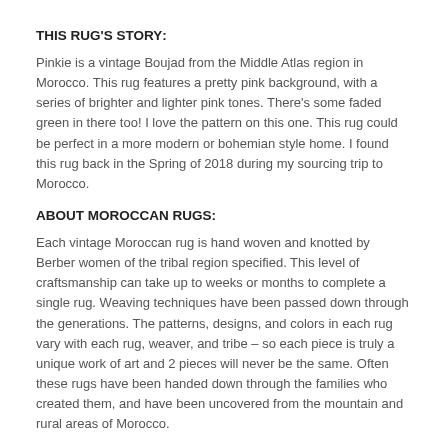THIS RUG'S STORY:
Pinkie is a vintage Boujad from the Middle Atlas region in Morocco. This rug features a pretty pink background, with a series of brighter and lighter pink tones. There's some faded green in there too! I love the pattern on this one. This rug could be perfect in a more modern or bohemian style home. I found this rug back in the Spring of 2018 during my sourcing trip to Morocco.
ABOUT MOROCCAN RUGS:
Each vintage Moroccan rug is hand woven and knotted by Berber women of the tribal region specified. This level of craftsmanship can take up to weeks or months to complete a single rug. Weaving techniques have been passed down through the generations. The patterns, designs, and colors in each rug vary with each rug, weaver, and tribe – so each piece is truly a unique work of art and 2 pieces will never be the same. Often these rugs have been handed down through the families who created them, and have been uncovered from the mountain and rural areas of Morocco.
COLORS/MATERIALS: Brighter pink, pale pink, some hints of green that show through and peach. Colorful tassels. Hand knotted wool & cotton.